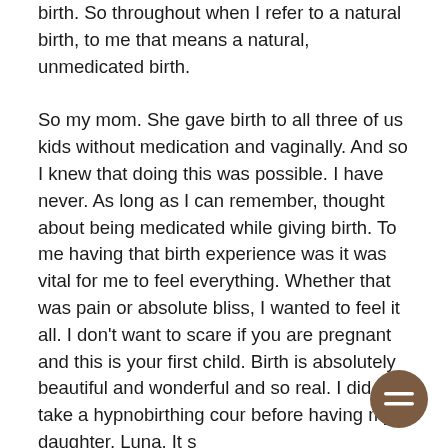birth. So throughout when I refer to a natural birth, to me that means a natural, unmedicated birth.

So my mom. She gave birth to all three of us kids without medication and vaginally. And so I knew that doing this was possible. I have never. As long as I can remember, thought about being medicated while giving birth. To me having that birth experience was it was vital for me to feel everything. Whether that was pain or absolute bliss, I wanted to feel it all. I don't want to scare if you are pregnant and this is your first child. Birth is absolutely beautiful and wonderful and so real. I did take a hypnobirthing cour before having my daughter, Luna. It s
[Figure (other): Brown circular chat button with an equals/chat icon in white, positioned in the bottom right area of the page]